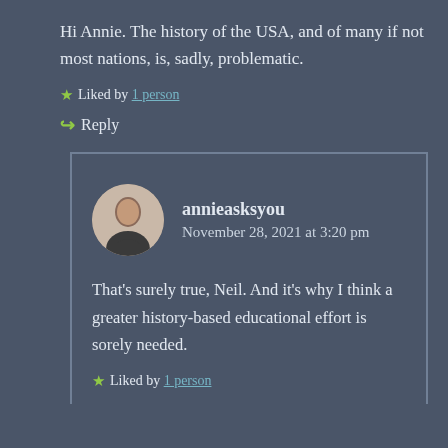Hi Annie. The history of the USA, and of many if not most nations, is, sadly, problematic.
Liked by 1 person
Reply
annieasksyou
November 28, 2021 at 3:20 pm
That's surely true, Neil. And it's why I think a greater history-based educational effort is sorely needed.
Liked by 1 person